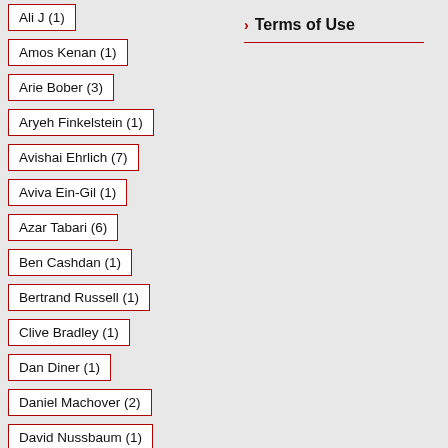Ali J (1)
Amos Kenan (1)
Arie Bober (3)
Aryeh Finkelstein (1)
Avishai Ehrlich (7)
Aviva Ein-Gil (1)
Azar Tabari (6)
Ben Cashdan (1)
Bertrand Russell (1)
Clive Bradley (1)
Dan Diner (1)
Daniel Machover (2)
David Nussbaum (1)
Terms of Use